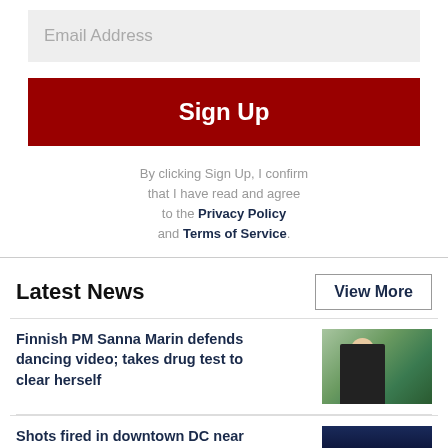Email Address
Sign Up
By clicking Sign Up, I confirm that I have read and agree to the Privacy Policy and Terms of Service.
Latest News
View More
Finnish PM Sanna Marin defends dancing video; takes drug test to clear herself
[Figure (photo): Photo of Finnish PM Sanna Marin speaking at a press conference with microphones]
Shots fired in downtown DC near White House, National Mall: police
[Figure (photo): Night scene photo of downtown DC with police lights and glow near White House area]